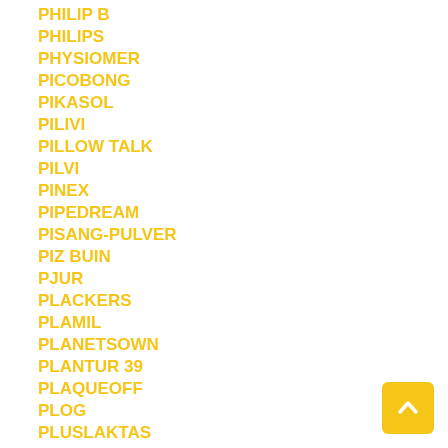PHILIP B
PHILIPS
PHYSIOMER
PICOBONG
PIKASOL
PILIVI
PILLOW TALK
PILVI
PINEX
PIPEDREAM
PISANG-PULVER
PIZ BUIN
PJUR
PLACKERS
PLAMIL
PLANETSOWN
PLANTUR 39
PLAQUEOFF
PLOG
PLUSLAKTAS
POLAR
POMI-T
POO-POURRI
[Figure (other): Yellow back-to-top arrow button in bottom right corner]